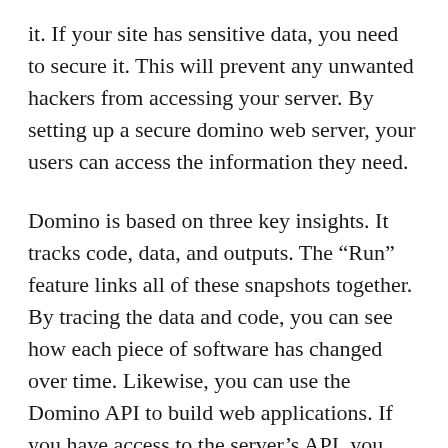it. If your site has sensitive data, you need to secure it. This will prevent any unwanted hackers from accessing your server. By setting up a secure domino web server, your users can access the information they need.
Domino is based on three key insights. It tracks code, data, and outputs. The “Run” feature links all of these snapshots together. By tracing the data and code, you can see how each piece of software has changed over time. Likewise, you can use the Domino API to build web applications. If you have access to the server’s API, you can use it to make Domino compatible with your web server.